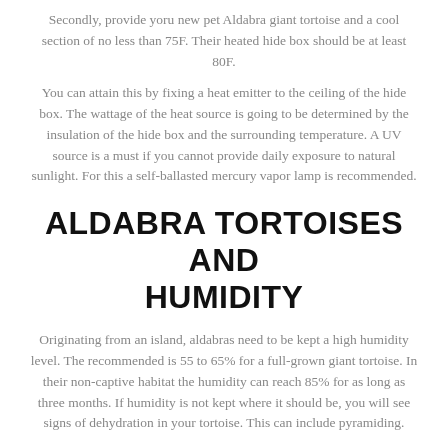Secondly, provide yoru new pet Aldabra giant tortoise and a cool section of no less than 75F. Their heated hide box should be at least 80F.
You can attain this by fixing a heat emitter to the ceiling of the hide box. The wattage of the heat source is going to be determined by the insulation of the hide box and the surrounding temperature. A UV source is a must if you cannot provide daily exposure to natural sunlight. For this a self-ballasted mercury vapor lamp is recommended.
ALDABRA TORTOISES AND HUMIDITY
Originating from an island, aldabras need to be kept a high humidity level. The recommended is 55 to 65% for a full-grown giant tortoise. In their non-captive habitat the humidity can reach 85% for as long as three months. If humidity is not kept where it should be, you will see signs of dehydration in your tortoise. This can include pyramiding.